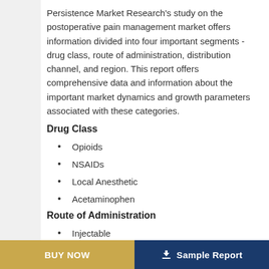Persistence Market Research's study on the postoperative pain management market offers information divided into four important segments - drug class, route of administration, distribution channel, and region. This report offers comprehensive data and information about the important market dynamics and growth parameters associated with these categories.
Drug Class
Opioids
NSAIDs
Local Anesthetic
Acetaminophen
Route of Administration
Injectable
Oral
BUY NOW   Sample Report